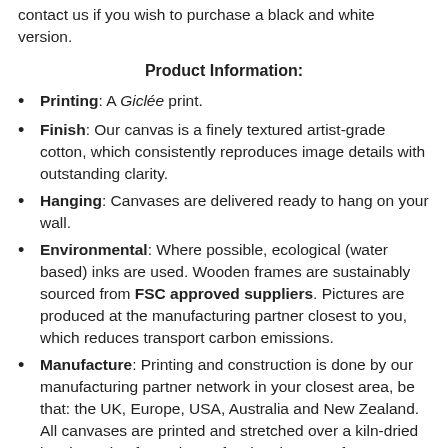contact us if you wish to purchase a black and white version.
Product Information:
Printing: A Giclée print.
Finish: Our canvas is a finely textured artist-grade cotton, which consistently reproduces image details with outstanding clarity.
Hanging: Canvases are delivered ready to hang on your wall.
Environmental: Where possible, ecological (water based) inks are used. Wooden frames are sustainably sourced from FSC approved suppliers. Pictures are produced at the manufacturing partner closest to you, which reduces transport carbon emissions.
Manufacture: Printing and construction is done by our manufacturing partner network in your closest area, be that: the UK, Europe, USA, Australia and New Zealand. All canvases are printed and stretched over a kiln-dried knotless pine frame by professional canvas framers. Please allow 2 working days for your order to be made.
Delivery: We offer free worldwide delivery. UK Customers: please allow 5 working days for your order